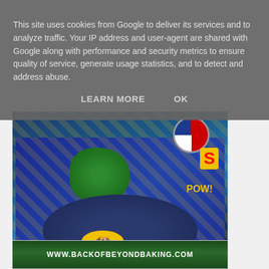This site uses cookies from Google to deliver its services and to analyze traffic. Your IP address and user-agent are shared with Google along with performance and security metrics to ensure quality of service, generate usage statistics, and to detect and address abuse.
LEARN MORE    OK
[Figure (photo): A superhero-themed birthday cake decorated with a Hulk fist on top, Batman logo, Captain America shield, Superman S, comic book style board, with text reading 'Happy Birthday Luca']
[Figure (photo): Bottom portion of an image showing a banner with text: WWW.BACKOFBEYONDBAKING.COM]